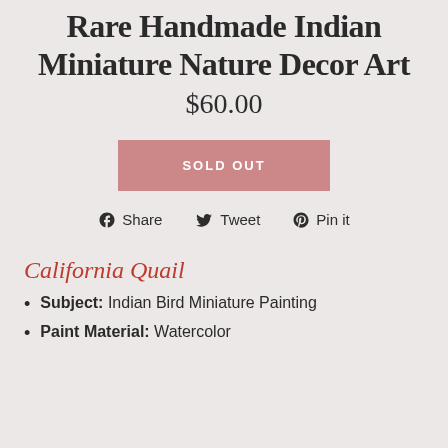Rare Handmade Indian Miniature Nature Decor Art
$60.00
SOLD OUT
Share  Tweet  Pin it
California Quail
Subject: Indian Bird Miniature Painting
Paint Material: Watercolor